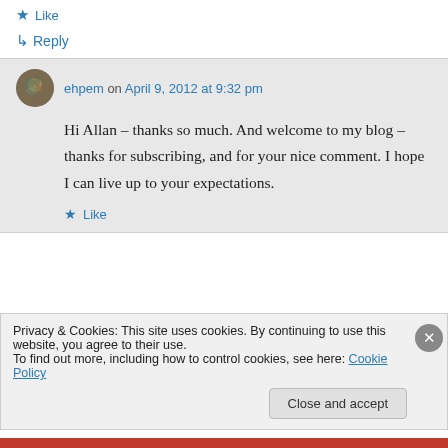★ Like
↳ Reply
ehpem on April 9, 2012 at 9:32 pm
Hi Allan – thanks so much. And welcome to my blog – thanks for subscribing, and for your nice comment. I hope I can live up to your expectations.
★ Like
Privacy & Cookies: This site uses cookies. By continuing to use this website, you agree to their use. To find out more, including how to control cookies, see here: Cookie Policy
Close and accept